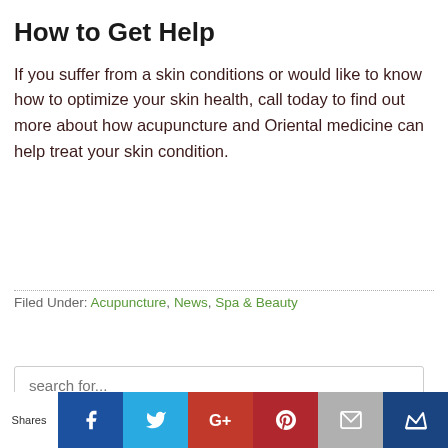How to Get Help
If you suffer from a skin conditions or would like to know how to optimize your skin health, call today to find out more about how acupuncture and Oriental medicine can help treat your skin condition.
Filed Under: Acupuncture, News, Spa & Beauty
search for...
Shares